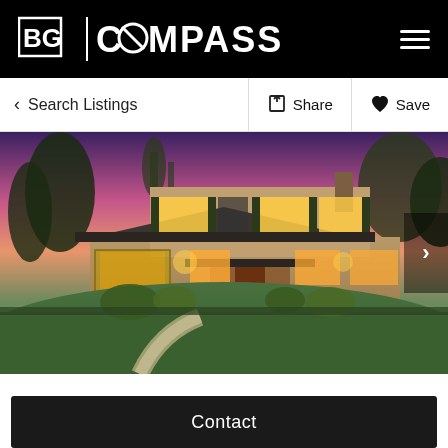BG | COMPASS
< Search Listings
Share
Save
[Figure (photo): Exterior photo of a two-story suburban house at dusk/sunset. The home has warm interior lighting, dark shutters, a curved concrete walkway leading to the front door, a manicured green lawn, landscaping, and trees silhouetted against a pink-purple sky. A two-car garage is on the left.]
Contact